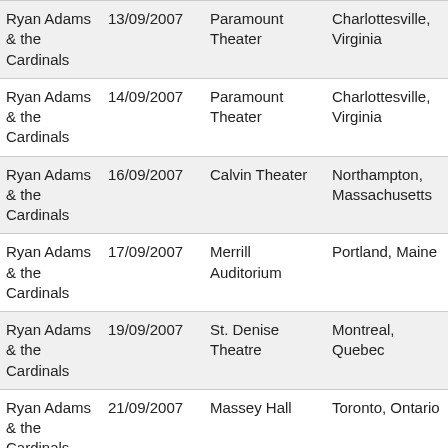| Artist | Date | Venue | City | Country |
| --- | --- | --- | --- | --- |
| Ryan Adams & the Cardinals | 13/09/2007 | Paramount Theater | Charlottesville, Virginia | USA |
| Ryan Adams & the Cardinals | 14/09/2007 | Paramount Theater | Charlottesville, Virginia | USA |
| Ryan Adams & the Cardinals | 16/09/2007 | Calvin Theater | Northampton, Massachusetts | USA |
| Ryan Adams & the Cardinals | 17/09/2007 | Merrill Auditorium | Portland, Maine | USA |
| Ryan Adams & the Cardinals | 19/09/2007 | St. Denise Theatre | Montreal, Quebec | Canada |
| Ryan Adams & the Cardinals | 21/09/2007 | Massey Hall | Toronto, Ontario | Canada |